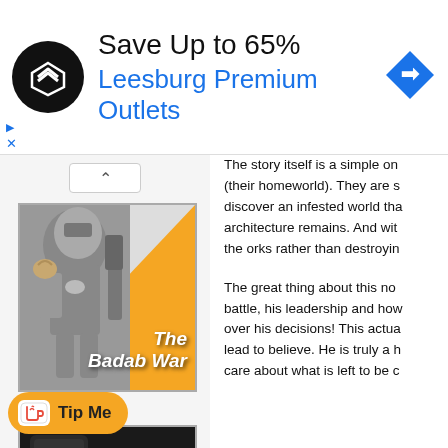[Figure (screenshot): Advertisement banner: black circular logo with diamond arrow icon, text 'Save Up to 65%' and 'Leesburg Premium Outlets' in blue, blue diamond navigation arrow on right, play/close controls on left]
[Figure (illustration): Book/product card for 'The Badab War' showing a grey Space Marine miniature figure on left, orange triangle on right with white bold italic text 'The Badab War']
Beer Reviews
[Figure (illustration): Beer review card showing dark beer can with 'LAGER' text, orange triangle on bottom right with white bold italic text 'Beer']
The story itself is a simple one (their homeworld). They are s discover an infested world tha architecture remains. And wit the orks rather than destroyin
The great thing about this no battle, his leadership and ho over his decisions! This actu lead to believe. He is truly a h care about what is left to be c
[Figure (screenshot): Tip Me button - orange rounded pill with white Ko-fi cup icon with heart and text 'Tip Me']